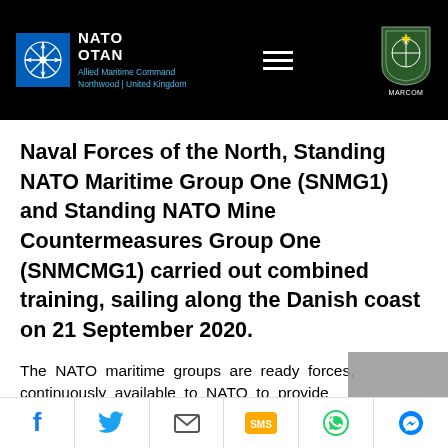NATO OTAN Allied Maritime Command Northwood | United Kingdom — MARCOM
Naval Forces of the North, Standing NATO Maritime Group One (SNMG1) and Standing NATO Mine Countermeasures Group One (SNMCMG1) carried out combined training, sailing along the Danish coast on 21 September 2020.
The NATO maritime groups are ready forces, continuously available to NATO to provide uninterrupted maritime capability in peacetime